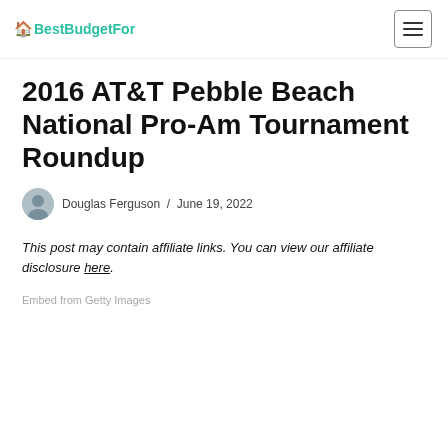BestBudgetFor
2016 AT&T Pebble Beach National Pro-Am Tournament Roundup
Douglas Ferguson / June 19, 2022
This post may contain affiliate links. You can view our affiliate disclosure here.
Embed from Getty Images